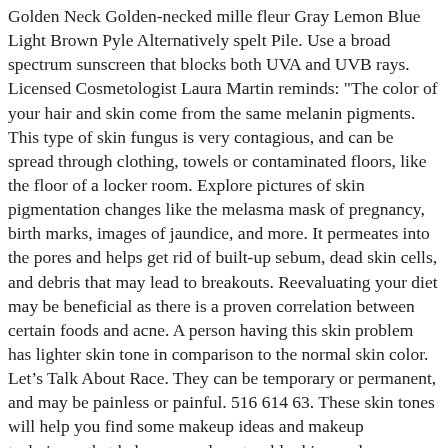Golden Neck Golden-necked mille fleur Gray Lemon Blue Light Brown Pyle Alternatively spelt Pile. Use a broad spectrum sunscreen that blocks both UVA and UVB rays. Licensed Cosmetologist Laura Martin reminds: "The color of your hair and skin come from the same melanin pigments. This type of skin fungus is very contagious, and can be spread through clothing, towels or contaminated floors, like the floor of a locker room. Explore pictures of skin pigmentation changes like the melasma mask of pregnancy, birth marks, images of jaundice, and more. It permeates into the pores and helps get rid of built-up sebum, dead skin cells, and debris that may lead to breakouts. Reevaluating your diet may be beneficial as there is a proven correlation between certain foods and acne. A person having this skin problem has lighter skin tone in comparison to the normal skin color. Let’s Talk About Race. They can be temporary or permanent, and may be painless or painful. 516 614 63. These skin tones will help you find some makeup ideas and makeup techniques that help you apply natural looking makeup according to your skin color. There may also be scaly patches or flaking. Many assume that dry skin is due to a lack of moisture, but the water content of dry skin